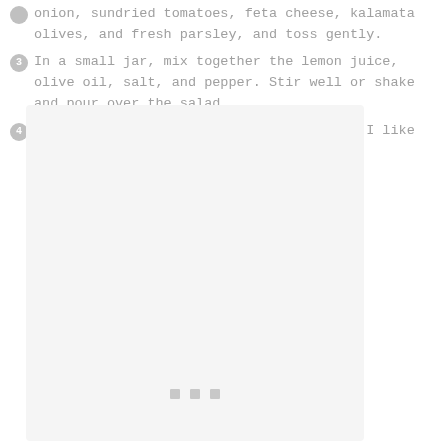onion, sundried tomatoes, feta cheese, kalamata olives, and fresh parsley, and toss gently.
In a small jar, mix together the lemon juice, olive oil, salt, and pepper. Stir well or shake and pour over the salad.
Serve as is or with a choice of protein (I like adding roasted salmon).
[Figure (photo): A large light gray placeholder image box with three small gray square dots centered near the bottom, indicating a loading or placeholder image area.]